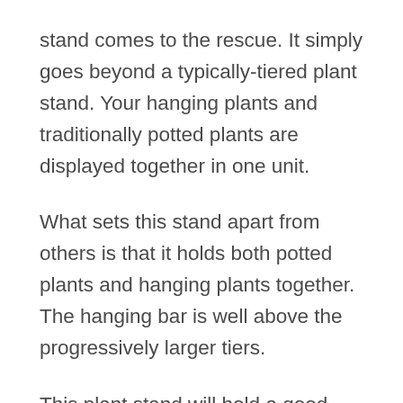stand comes to the rescue. It simply goes beyond a typically-tiered plant stand. Your hanging plants and traditionally potted plants are displayed together in one unit.
What sets this stand apart from others is that it holds both potted plants and hanging plants together. The hanging bar is well above the progressively larger tiers.
This plant stand will hold a good selection of small to medium-sized planters – which translates to more options to display your